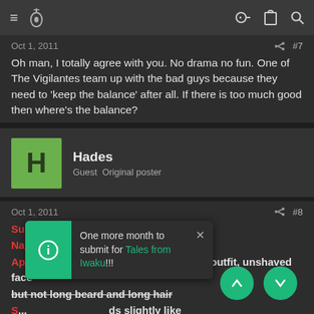Navigation bar with menu, bird logo, key icon, clipboard icon, search icon
Oct 1, 2011   #7
Oh man, I totally agree with you. No drama no fun. One of The Vigilantes team up with the bad guys because they need to 'keep the balance' after all. If there is too much good then where's the balance?
Hades  Guest  Original poster
Oct 1, 2011   #8
Superhero Bio
Name: Jax Black
Appearance: Classic Biker, with leather outfit, unshaved face but not long beard and long hair
S... ds slightly like a...
One more month to submit for Tales from Iwaku!!!